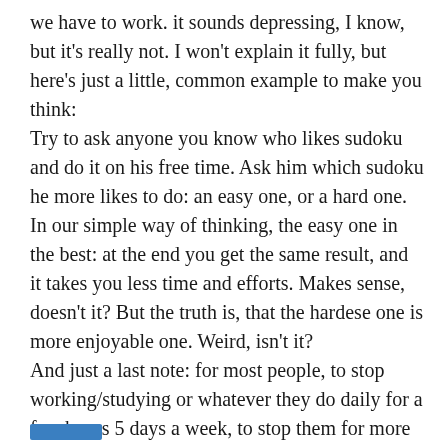we have to work. it sounds depressing, I know, but it's really not. I won't explain it fully, but here's just a little, common example to make you think: Try to ask anyone you know who likes sudoku and do it on his free time. Ask him which sudoku he more likes to do: an easy one, or a hard one. In our simple way of thinking, the easy one in the best: at the end you get the same result, and it takes you less time and efforts. Makes sense, doesn't it? But the truth is, that the hardese one is more enjoyable one. Weird, isn't it? And just a last note: for most people, to stop working/studying or whatever they do daily for a few hours 5 days a week, to stop them for more then a few weeks will probably make them bored, sad and depressed. That also weird, at least for those who disagree with me…